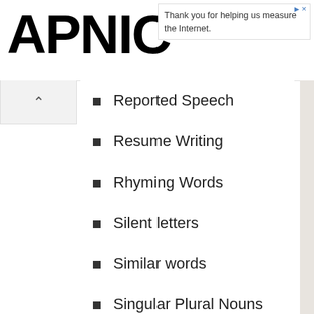APNIC — Thank you for helping us measure the Internet.
Reported Speech
Resume Writing
Rhyming Words
Silent letters
Similar words
Singular Plural Nouns
Singular Plural Nouns
Slangs
Speaking Courses
Stories
Suffixes
Synonyms
Tenses
Transport Names
Vegetables Names